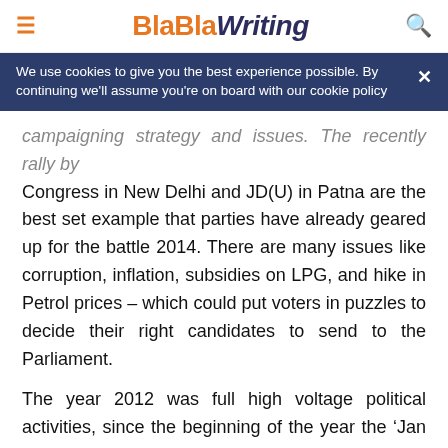BlaBlaWriting
We use cookies to give you the best experience possible. By continuing we'll assume you're on board with our cookie policy
campaigning strategy and issues. The recently rally by Congress in New Delhi and JD(U) in Patna are the best set example that parties have already geared up for the battle 2014. There are many issues like corruption, inflation, subsidies on LPG, and hike in Petrol prices – which could put voters in puzzles to decide their right candidates to send to the Parliament.
The year 2012 was full high voltage political activities, since the beginning of the year the 'Jan Lokpal Bill' has been in the news. The nation has witnessed the campaign of Hanna Hazare and Ramdev over the bill. However, there were many rounds of talks between the civil society members and UPA government to finalize the issues, but